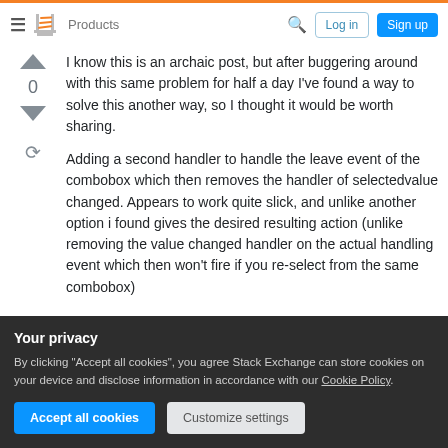Stack Exchange — Products | Log in | Sign up
I know this is an archaic post, but after buggering around with this same problem for half a day I've found a way to solve this another way, so I thought it would be worth sharing.
Adding a second handler to handle the leave event of the combobox which then removes the handler of selectedvalue changed. Appears to work quite slick, and unlike another option i found gives the desired resulting action (unlike removing the value changed handler on the actual handling event which then won't fire if you re-select from the same combobox)
Your privacy
By clicking "Accept all cookies", you agree Stack Exchange can store cookies on your device and disclose information in accordance with our Cookie Policy.
Accept all cookies  Customize settings